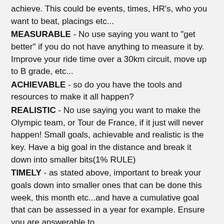achieve.  This could be events, times, HR's, who you want to beat, placings etc...
MEASURABLE - No use saying you want to "get better" if you do not have anything to measure it by.  Improve your ride time over a 30km circuit, move up to B grade, etc...
ACHIEVABLE - so do you have the tools and resources to make it all happen?
REALISTIC - No use saying you want to make the Olympic team, or Tour de France, if it just will never happen! Small goals, achievable and realistic is the key.  Have a big goal in the distance and break it down into smaller bits(1% RULE)
TIMELY - as stated above, important to break your goals down into smaller ones that can be done this week, this month etc...and have a cumulative goal that can be assessed in a year for example.  Ensure you are answerable to